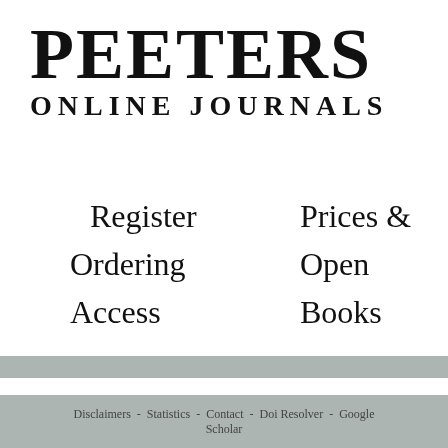PEETERS ONLINE JOURNALS
Register
Ordering
Access
Prices &
Open
Books
Bulletin of the Ame
Disclaimers - Statistics - Contact - Doi Resolver - Google Scholar